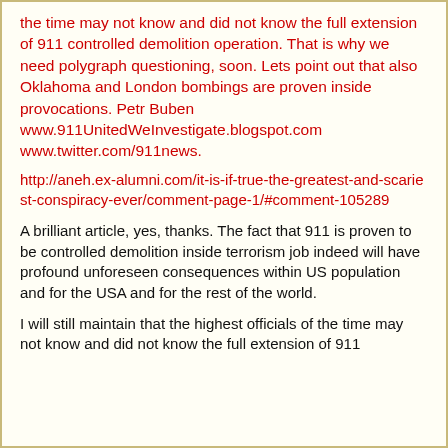the time may not know and did not know the full extension of 911 controlled demolition operation. That is why we need polygraph questioning, soon. Lets point out that also Oklahoma and London bombings are proven inside provocations. Petr Buben www.911UnitedWeInvestigate.blogspot.com www.twitter.com/911news.
http://aneh.ex-alumni.com/it-is-if-true-the-greatest-and-scariest-conspiracy-ever/comment-page-1/#comment-105289
A brilliant article, yes, thanks. The fact that 911 is proven to be controlled demolition inside terrorism job indeed will have profound unforeseen consequences within US population and for the USA and for the rest of the world.
I will still maintain that the highest officials of the time may not know and did not know the full extension of 911